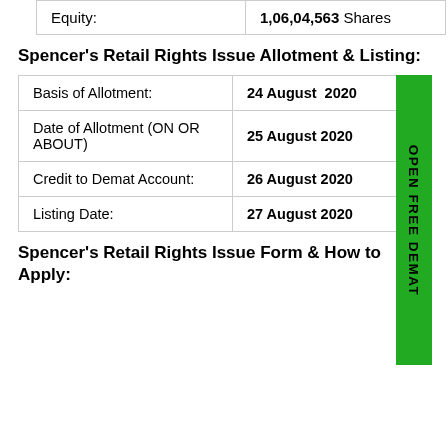|  |  |
| --- | --- |
| Equity: | 1,06,04,563 Shares |
Spencer's Retail Rights Issue Allotment & Listing:
|  |  |
| --- | --- |
| Basis of Allotment: | 24 August  2020 |
| Date of Allotment (ON OR ABOUT) | 25 August 2020 |
| Credit to Demat Account: | 26 August 2020 |
| Listing Date: | 27 August 2020 |
Spencer's Retail Rights Issue Form & How to Apply: